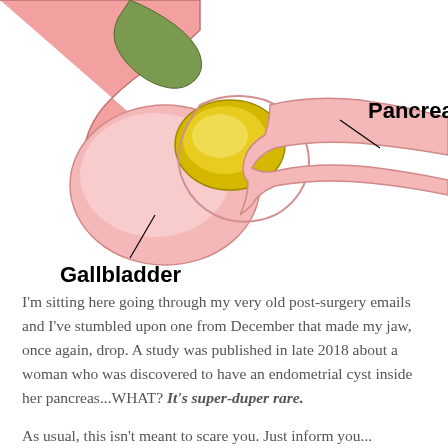[Figure (illustration): Medical illustration of the gallbladder and pancreas anatomy. Shows a pink rounded organ (gallbladder) with a yellow-gold oval structure (gallstone or head of pancreas) and green tissue at top. Two labeled callout lines: 'Gallbladder' pointing to the pink organ with a diagonal line, and 'Pancreas' pointing to the right portion of the structure.]
I'm sitting here going through my very old post-surgery emails and I've stumbled upon one from December that made my jaw, once again, drop. A study was published in late 2018 about a woman who was discovered to have an endometrial cyst inside her pancreas...WHAT? It's super-duper rare.
As usual, this isn't meant to scare you. Just inform you...
As you know...I'm prone to following studies down rabbit